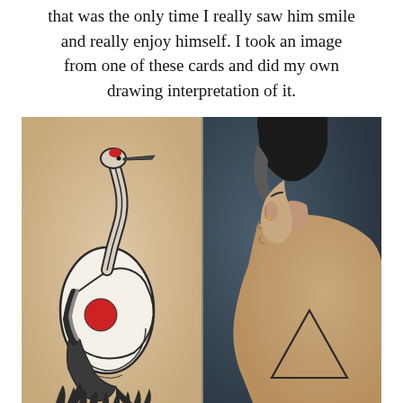that was the only time I really saw him smile and really enjoy himself. I took an image from one of these cards and did my own drawing interpretation of it.
[Figure (photo): Left: close-up photo of a tattoo on skin showing a Japanese red-crowned crane (tsuru) in black ink with a red circle on its body, rendered in a traditional style. Right: portrait photo of a person with an undercut hairstyle shown in profile from behind, with a small triangle tattoo outline visible on their upper back.]
Triangle